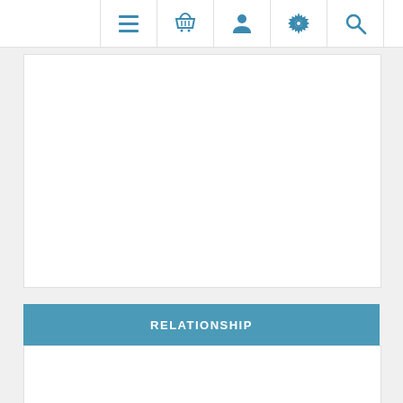Navigation bar with menu, basket, user, settings, and search icons
[Figure (screenshot): White content area placeholder box]
RELATIONSHIP
[Figure (screenshot): White content area below RELATIONSHIP header with back-to-top button]